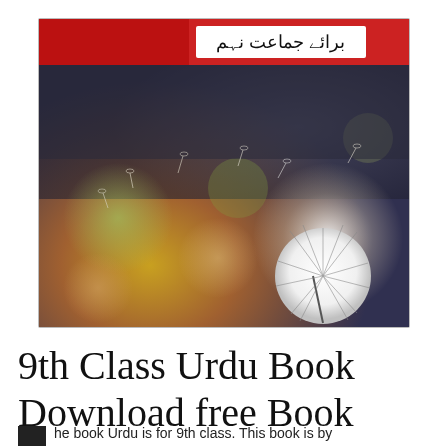[Figure (photo): Cover of a 9th Class Urdu textbook showing dandelion seeds floating against a colorful blurred background with a red banner at the top containing Urdu text 'برائے جماعت نہم' (For Class Nine) in a white label.]
9th Class Urdu Book Download free Book
he book Urdu is for 9th class. This book is by